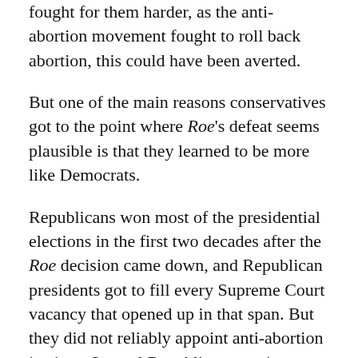fought for them harder, as the anti-abortion movement fought to roll back abortion, this could have been averted.
But one of the main reasons conservatives got to the point where Roe's defeat seems plausible is that they learned to be more like Democrats.
Republicans won most of the presidential elections in the first two decades after the Roe decision came down, and Republican presidents got to fill every Supreme Court vacancy that opened up in that span. But they did not reliably appoint anti-abortion justices. Several Republican appointees — John Paul Stevens, Sandra Day O'Connor, Anthony Kennedy, and David Souter — ended up voting to uphold Roe, which is why it wasn't overturned decades ago.